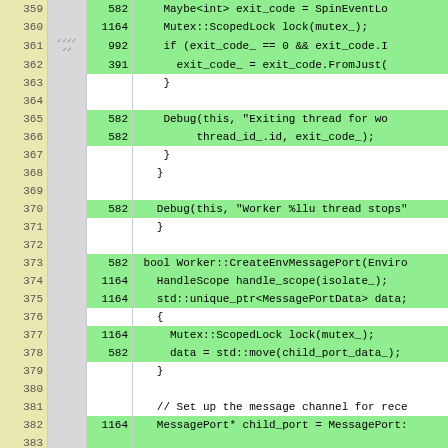[Figure (screenshot): Code coverage view showing source code lines 359-383 with line numbers, execution counts, and highlighted (green) covered lines. Code shows C++ source for Worker class methods including mutex locking, debug logging, and CreateEnvMessagePort function.]